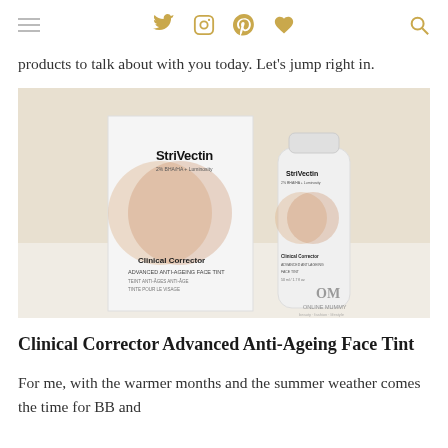Navigation header with hamburger menu and social icons (Twitter, Instagram, Pinterest, heart/Bloglovin, search)
products to talk about with you today. Let's jump right in.
[Figure (photo): StriVectin Clinical Corrector Advanced Anti-Ageing Face Tint product photo showing box and tube, with Online Mummy watermark]
Clinical Corrector Advanced Anti-Ageing Face Tint
For me, with the warmer months and the summer weather comes the time for BB and